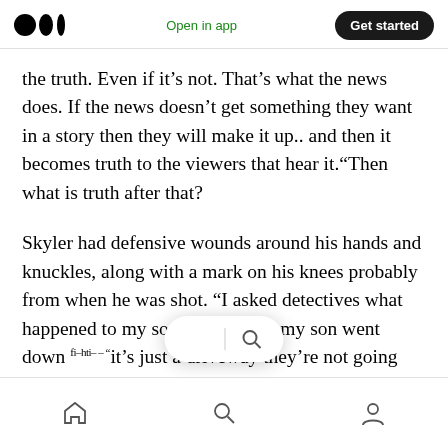Medium logo | Open in app | Get started
the truth. Even if it’s not. That’s what the news does. If the news doesn’t get something they want in a story then they will make it up.. and then it becomes truth to the viewers that hear it.”Then what is truth after that?
Skyler had defensive wounds around his hands and knuckles, along with a mark on his knees probably from when he was shot. “I asked detectives what happened to my son. I said, look my son went down fi–hti– – “it’s just a driveway they’re not going t… …shoot you.
Home | Search | Profile